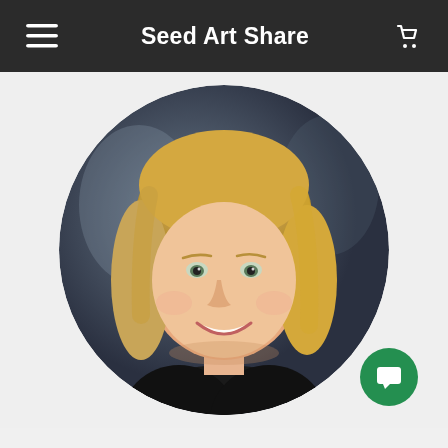Seed Art Share
[Figure (photo): Circular profile photo of a smiling blonde woman wearing a black top, against a blurred dark background]
[Figure (illustration): Green circular chat/message button icon in bottom right corner]